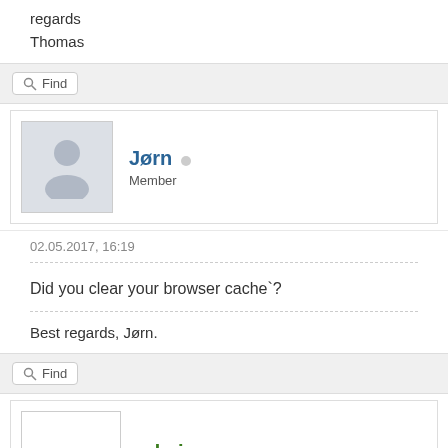regards
Thomas
Find
Jørn • Member
02.05.2017, 16:19
Did you clear your browser cache`?
Best regards, Jørn.
Find
admin • Administrator
02.05.2017, 16:29